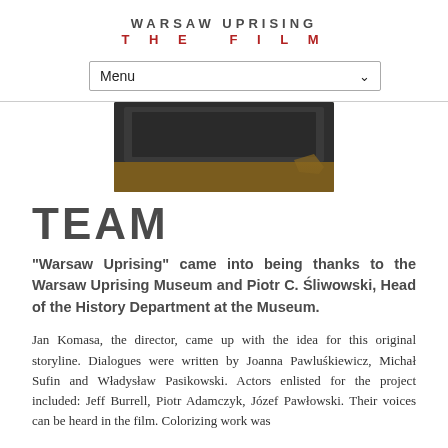WARSAW UPRISING THE FILM
[Figure (screenshot): Navigation menu dropdown bar with 'Menu' label and dropdown arrow]
[Figure (photo): Partial view of a worn leather or fabric bound object (notebook or camera case) photographed from above against white background]
TEAM
“Warsaw Uprising” came into being thanks to the Warsaw Uprising Museum and Piotr C. Śliwowski, Head of the History Department at the Museum.
Jan Komasa, the director, came up with the idea for this original storyline. Dialogues were written by Joanna Pawluśkiewicz, Michał Sufin and Władysław Pasikowski. Actors enlisted for the project included: Jeff Burrell, Piotr Adamczyk, Józef Pawłowski. Their voices can be heard in the film. Colorizing work was